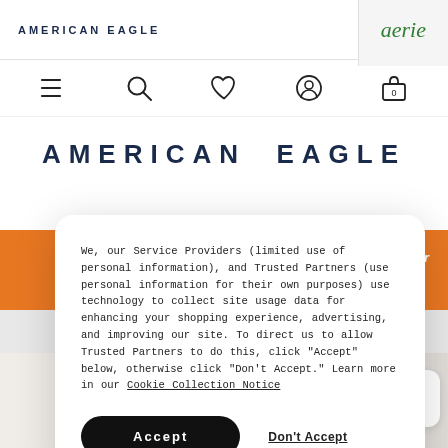AMERICAN EAGLE | aerie
[Figure (screenshot): Navigation icon bar with hamburger menu, search, heart/wishlist, user/account, and shopping bag (0) icons]
AMERICAN EAGLE
[Figure (screenshot): Orange promotional banner with text 'buy a pair']
We, our Service Providers (limited use of personal information), and Trusted Partners (use personal information for their own purposes) use technology to collect site usage data for enhancing your shopping experience, advertising, and improving our site. To direct us to allow Trusted Partners to do this, click “Accept” below, otherwise click “Don’t Accept.” Learn more in our Cookie Collection Notice
Accept
Don't Accept
[Figure (screenshot): Bottom of the page showing partial product images (models in white tops) and a Chat button]